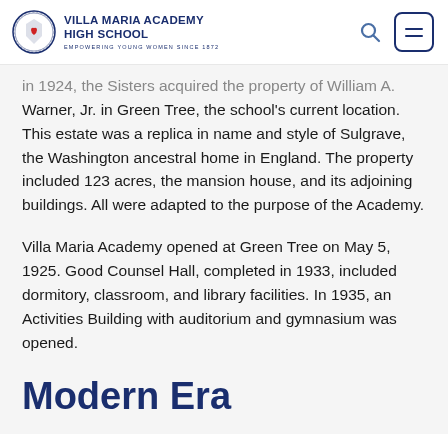VILLA MARIA ACADEMY HIGH SCHOOL — EMPOWERING YOUNG WOMEN SINCE 1872
In 1924, the Sisters acquired the property of William A. Warner, Jr. in Green Tree, the school's current location. This estate was a replica in name and style of Sulgrave, the Washington ancestral home in England. The property included 123 acres, the mansion house, and its adjoining buildings. All were adapted to the purpose of the Academy.
Villa Maria Academy opened at Green Tree on May 5, 1925. Good Counsel Hall, completed in 1933, included dormitory, classroom, and library facilities. In 1935, an Activities Building with auditorium and gymnasium was opened.
Modern Era